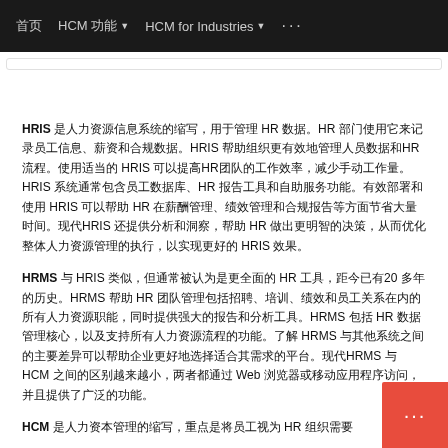首页  HCM 功能  HCM for Industries  ...
HRIS 是人力资源信息系统的缩写，用于管理 HR 数据。HR 部门使用它来记录员工信息、薪资和合规数据。HRIS 帮助组织更有效地管理人员数据和HR流程。使用适当的 HRIS 可以提高HR团队的工作效率，减少手动工作量。HRIS 系统通常包含员工数据库、HR 报告工具和自助服务功能。有效部署和使用 HRIS 可以帮助 HR 在薪酬管理、绩效管理和合规报告等方面节省大量时间。现代HRIS 还提供分析和洞察，帮助 HR 做出更明智的决策，从而优化整体人力资源管理的执行，以实现更好的 HRIS 效果。
HRMS 与 HRIS 类似，但通常被认为是更全面的 HR 工具，距今已有20 多年的历史。HRMS 帮助 HR 团队管理包括招聘、培训、绩效和员工关系在内的所有人力资源职能，同时提供强大的报告和分析工具。HRMS 包括 HR 数据管理核心，以及支持所有人力资源流程的功能。了解 HRMS 与其他系统之间的主要差异可以帮助企业更好地选择适合其需求的平台。现代HRMS 与 HCM 之间的区别越来越小，两者都通过 Web 浏览器或移动应用程序访问，并且提供了广泛的功能。
HCM 是人力资本管理的缩写，重点是将员工视为 HR 组织需要